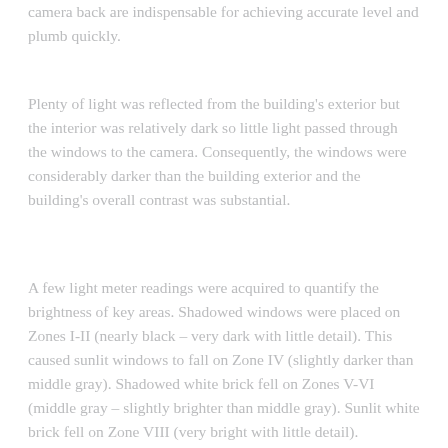level and plumb quickly.
Plenty of light was reflected from the building's exterior but the interior was relatively dark so little light passed through the windows to the camera. Consequently, the windows were considerably darker than the building exterior and the building's overall contrast was substantial.
A few light meter readings were acquired to quantify the brightness of key areas. Shadowed windows were placed on Zones I-II (nearly black – very dark with little detail). This caused sunlit windows to fall on Zone IV (slightly darker than middle gray). Shadowed white brick fell on Zones V-VI (middle gray – slightly brighter than middle gray). Sunlit white brick fell on Zone VIII (very bright with little detail).